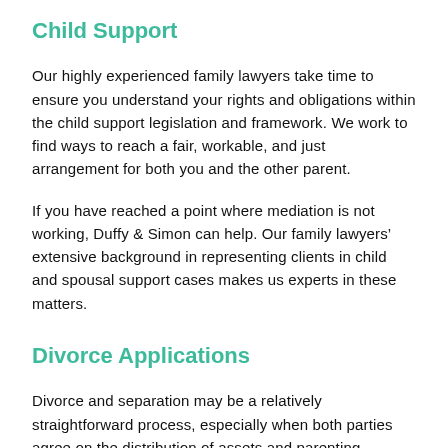Child Support
Our highly experienced family lawyers take time to ensure you understand your rights and obligations within the child support legislation and framework. We work to find ways to reach a fair, workable, and just arrangement for both you and the other parent.
If you have reached a point where mediation is not working, Duffy & Simon can help. Our family lawyers’ extensive background in representing clients in child and spousal support cases makes us experts in these matters.
Divorce Applications
Divorce and separation may be a relatively straightforward process, especially when both parties agree on the distribution of assets and parenting arrangements. Nevertheless, a well-experienced family